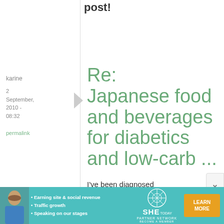post!
karine
2 September, 2010 - 08:32
permalink
Re: Japanese food and beverages for diabetics and low-carb ...
I've been diagnosed
[Figure (infographic): SHE Partner Network advertisement banner with woman photo, bullet points about earning site & social revenue, traffic growth, speaking on our stages, SHE TODAY logo, and LEARN MORE button]